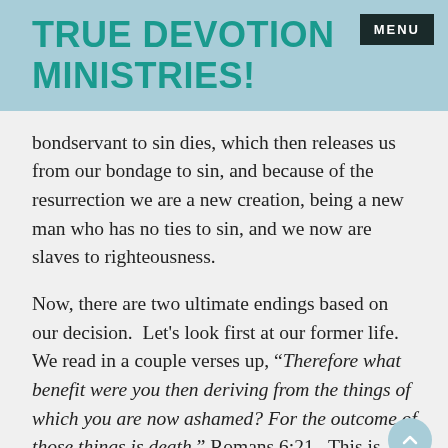TRUE DEVOTION MINISTRIES!
bondservant to sin dies, which then releases us from our bondage to sin, and because of the resurrection we are a new creation, being a new man who has no ties to sin, and we now are slaves to righteousness.
Now, there are two ultimate endings based on our decision.  Let's look first at our former life.  We read in a couple verses up, “Therefore what benefit were you then deriving from the things of which you are now ashamed? For the outcome of those things is death.” Romans 6:21.  This is